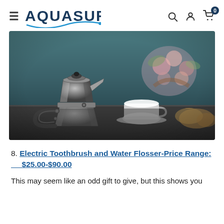AQUASURE — navigation bar with hamburger menu, search, account, and cart (0 items) icons
[Figure (photo): A moka pot / stovetop espresso maker in metallic silver-grey color placed on a dark surface, with a blurred background showing a white coffee cup on a saucer, a basket of pink and orange flowers, and some pastries or baked goods.]
8. Electric Toothbrush and Water Flosser-Price Range: $25.00-$90.00
This may seem like an odd gift to give, but this shows you